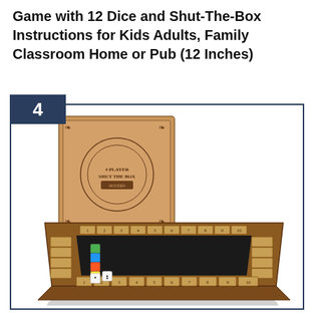Game with 12 Dice and Shut-The-Box Instructions for Kids Adults, Family Classroom Home or Pub (12 Inches)
[Figure (photo): Product photo showing a wooden 4-player Shut-The-Box board game with numbered wooden tiles (1-10) along the edges, colorful dice, and a kraft paper box with ornate design. The game board has a black felt center and wooden numbered flaps.]